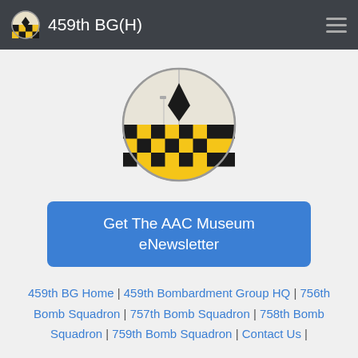459th BG(H)
[Figure (logo): 459th BG(H) oval emblem: top half light gray/white with black diamond shape, bottom half yellow and black checkerboard pattern, oval border]
Get The AAC Museum eNewsletter
459th BG Home | 459th Bombardment Group HQ | 756th Bomb Squadron | 757th Bomb Squadron | 758th Bomb Squadron | 759th Bomb Squadron | Contact Us |
459bg.org Operated by the Army Air Corps Museum Copyright 2022, All Rights Reserved